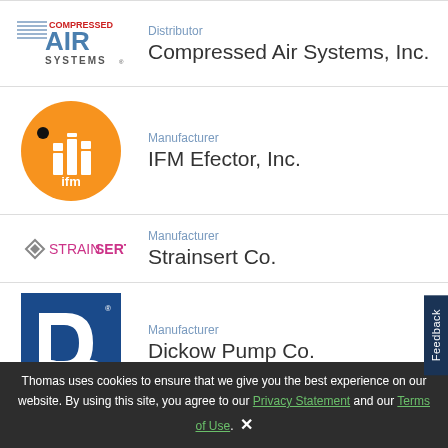[Figure (logo): Compressed Air Systems, Inc. logo with stylized AIR text and COMPRESSED SYSTEMS text]
Distributor
Compressed Air Systems, Inc.
[Figure (logo): IFM Efector orange circle logo with white ifm text and building icon]
Manufacturer
IFM Efector, Inc.
[Figure (logo): Strainsert Co. logo with diamond shape and bold STRAINSERT text]
Manufacturer
Strainsert Co.
[Figure (logo): Dickow Pump Co. blue square logo with white D letter and wave design]
Manufacturer
Dickow Pump Co.
Thomas uses cookies to ensure that we give you the best experience on our website. By using this site, you agree to our Privacy Statement and our Terms of Use.